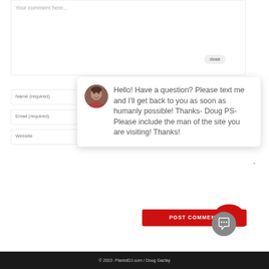Your comment here...
Name (required)
Email (required)
Website
close
Hello! Have a question? Please text me and I'll get back to you as soon as humanly possible! Thanks- Doug PS- Please include the man of the site you are visiting! Thanks!
POST COMMENT
© 2022- PianistDJ.com / Doug Gazlay